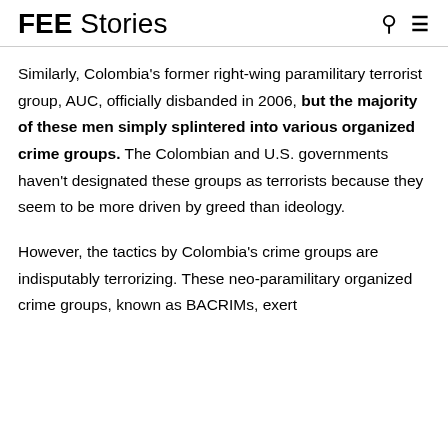FEE Stories
Similarly, Colombia's former right-wing paramilitary terrorist group, AUC, officially disbanded in 2006, but the majority of these men simply splintered into various organized crime groups. The Colombian and U.S. governments haven't designated these groups as terrorists because they seem to be more driven by greed than ideology.
However, the tactics by Colombia's crime groups are indisputably terrorizing. These neo-paramilitary organized crime groups, known as BACRIMs, exert